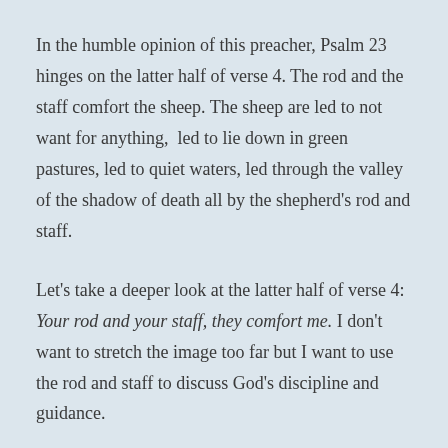In the humble opinion of this preacher, Psalm 23 hinges on the latter half of verse 4. The rod and the staff comfort the sheep. The sheep are led to not want for anything, led to lie down in green pastures, led to quiet waters, led through the valley of the shadow of death all by the shepherd's rod and staff.
Let's take a deeper look at the latter half of verse 4: Your rod and your staff, they comfort me. I don't want to stretch the image too far but I want to use the rod and staff to discuss God's discipline and guidance.
The Lord is your shepherd when you submit to his discipline and guidance.